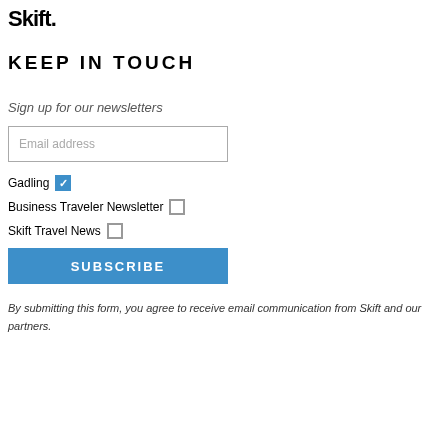Skift.
KEEP IN TOUCH
Sign up for our newsletters
Email address
Gadling [checked]
Business Traveler Newsletter [unchecked]
Skift Travel News [unchecked]
SUBSCRIBE
By submitting this form, you agree to receive email communication from Skift and our partners.